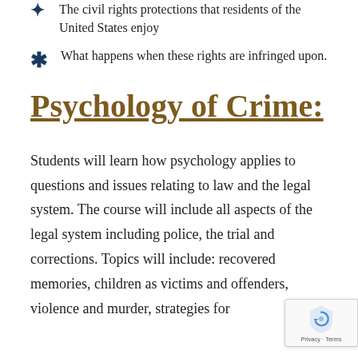The civil rights protections that residents of the United States enjoy
What happens when these rights are infringed upon.
Psychology of Crime:
Students will learn how psychology applies to questions and issues relating to law and the legal system. The course will include all aspects of the legal system including police, the trial and corrections. Topics will include: recovered memories, children as victims and offenders, violence and murder, strategies for